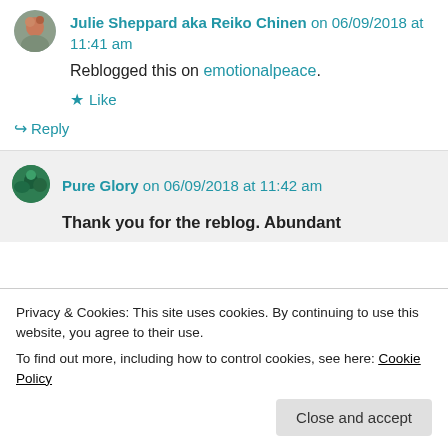Julie Sheppard aka Reiko Chinen on 06/09/2018 at 11:41 am
Reblogged this on emotionalpeace.
★ Like
↳ Reply
Pure Glory on 06/09/2018 at 11:42 am
Thank you for the reblog. Abundant
Privacy & Cookies: This site uses cookies. By continuing to use this website, you agree to their use.
To find out more, including how to control cookies, see here: Cookie Policy
Close and accept